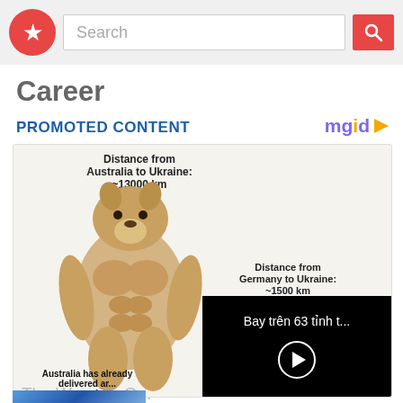Search
Career
PROMOTED CONTENT
[Figure (screenshot): Meme image comparing muscular Doge (Australia, ~13000 km from Ukraine) vs small Doge (Germany, ~1500 km from Ukraine), with partial captions about delivering armored vehicles. Overlaid with a video player showing 'Bay trên 63 tỉnh t...' with a play button.]
The Weapon O... Poignant Ukrain...